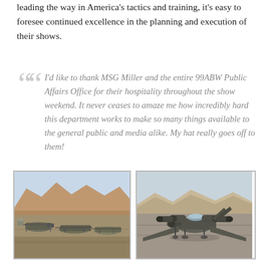leading the way in America's tactics and training, it's easy to foresee continued excellence in the planning and execution of their shows.
I'd like to thank MSG Miller and the entire 99ABW Public Affairs Office for their hospitality throughout the show weekend. It never ceases to amaze me how incredibly hard this department works to make so many things available to the general public and media alike. My hat really goes off to them!
[Figure (photo): Military aircraft and helicopters parked on a tarmac with rocky desert mountains in the background]
[Figure (photo): A-10 Thunderbolt II aircraft on a tarmac facing forward, desert landscape in background]